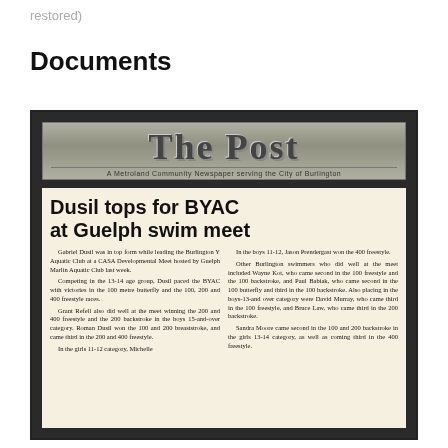restored)
Documents
[Figure (photo): Framed newspaper clipping from 'The Post – A Metroland Community Newspaper serving the City of Burlington', showing an article titled 'Dusil tops for BYAC at Guelph swim meet', with two columns of text describing swimming results from a CASA Developmental Meet hosted by Guelph Marlin Aquatic Club.]